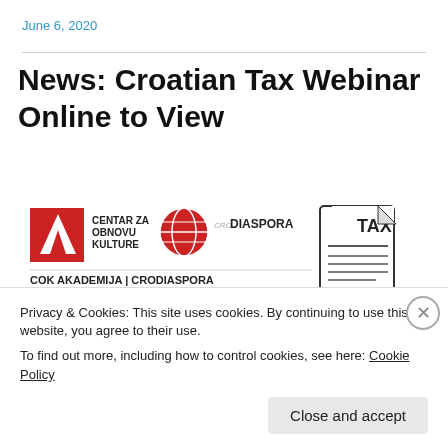June 6, 2020
News: Croatian Tax Webinar Online to View
[Figure (illustration): Event flyer for COK Akademija | Crodiaspora webinar on Taxation in Croatia Q&A, showing Centar za Obnovu Kulture and Crodiaspora logos alongside a TAX document icon, with red banner reading 'Taxation in Croatia Q&A: Webinar and fundraiser for Zagreb earthquake relief']
Privacy & Cookies: This site uses cookies. By continuing to use this website, you agree to their use.
To find out more, including how to control cookies, see here: Cookie Policy